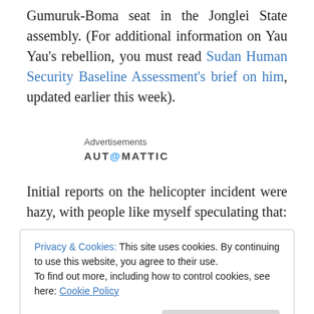Gumuruk-Boma seat in the Jonglei State assembly. (For additional information on Yau Yau's rebellion, you must read Sudan Human Security Baseline Assessment's brief on him, updated earlier this week).
Advertisements
[Figure (logo): Automattic logo with stylized @ symbol]
Initial reports on the helicopter incident were hazy, with people like myself speculating that:
Privacy & Cookies: This site uses cookies. By continuing to use this website, you agree to their use.
To find out more, including how to control cookies, see here: Cookie Policy
Close and accept
government and the UN mission have been